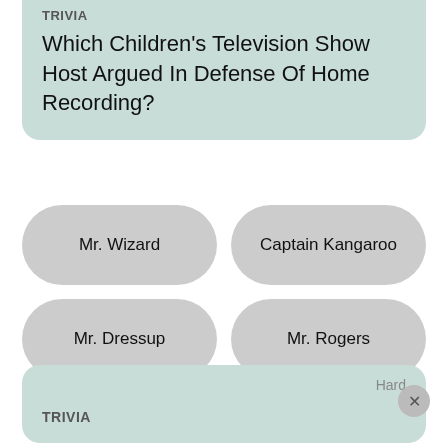TRIVIA
Which Children's Television Show Host Argued In Defense Of Home Recording?
Mr. Wizard
Captain Kangaroo
Mr. Dressup
Mr. Rogers
TRIVIA
Hard